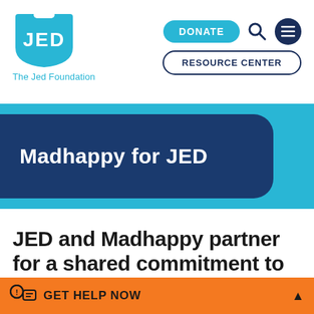[Figure (logo): JED Foundation logo — cyan shield shape with white text 'JED' and tagline 'The Jed Foundation' below in cyan]
[Figure (other): Navigation bar with DONATE button (cyan pill), search icon, dark blue circular menu icon, and RESOURCE CENTER outlined pill button]
Madhappy for JED
JED and Madhappy partner for a shared commitment to create an open conversation
GET HELP NOW